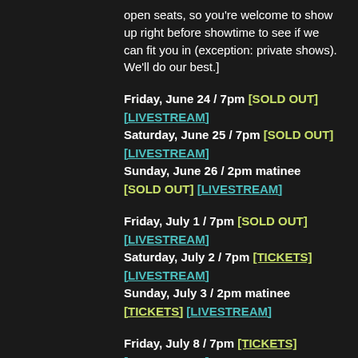open seats, so you're welcome to show up right before showtime to see if we can fit you in (exception: private shows). We'll do our best.]
Friday, June 24 / 7pm [SOLD OUT] [LIVESTREAM]
Saturday, June 25 / 7pm [SOLD OUT] [LIVESTREAM]
Sunday, June 26 / 2pm matinee [SOLD OUT] [LIVESTREAM]
Friday, July 1 / 7pm [SOLD OUT] [LIVESTREAM]
Saturday, July 2 / 7pm [TICKETS] [LIVESTREAM]
Sunday, July 3 / 2pm matinee [TICKETS] [LIVESTREAM]
Friday, July 8 / 7pm [TICKETS] [LIVESTREAM]